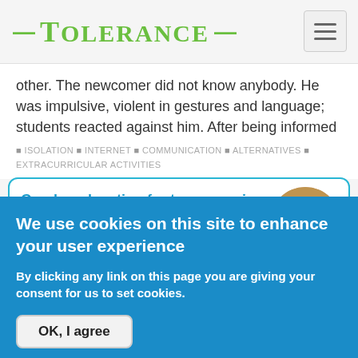≡ Tolerance ≡
other. The newcomer did not know anybody. He was impulsive, violent in gestures and language; students reacted against him. After being informed about…
⬜ Isolation ⬜ Internet ⬜ Communication ⬜ Alternatives ⬜ Extracurricular activities
Gender education for teenagers in multicultural contexts
Abigáil is a 15-year-old Gypsy student, who attends the first level of basic vocational training. She goes
[Figure (photo): Circular photo of students in a classroom setting]
We use cookies on this site to enhance your user experience
By clicking any link on this page you are giving your consent for us to set cookies.
OK, I agree